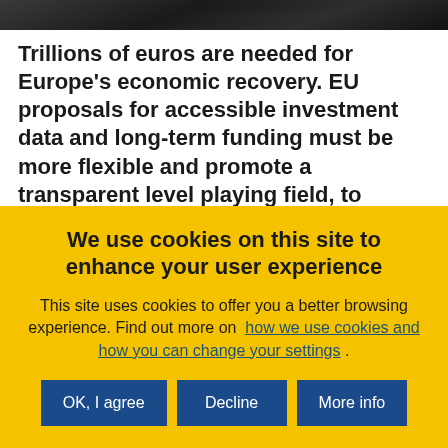[Figure (photo): Dark textured background photo strip at top of page]
Trillions of euros are needed for Europe's economic recovery. EU proposals for accessible investment data and long-term funding must be more flexible and promote a transparent level playing field, to include more investors and businesses in capital markets.
European investors tend to be specialists who place
We use cookies on this site to enhance your user experience
This site uses cookies to offer you a better browsing experience. Find out more on how we use cookies and how you can change your settings .